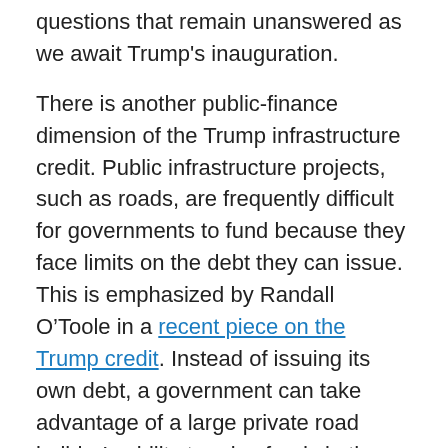questions that remain unanswered as we await Trump's inauguration.
There is another public-finance dimension of the Trump infrastructure credit. Public infrastructure projects, such as roads, are frequently difficult for governments to fund because they face limits on the debt they can issue. This is emphasized by Randall O'Toole in a recent piece on the Trump credit. Instead of issuing its own debt, a government can take advantage of a large private road builder's ability to raise funds in the capital market, agreeing to compensate the contractor over time. Thus, taxpayers will be obligated to pay-off the contractor's debt. The term “Public-Private Partnership” has been invoked in this connection.
Private Incentives Or Central Planning?